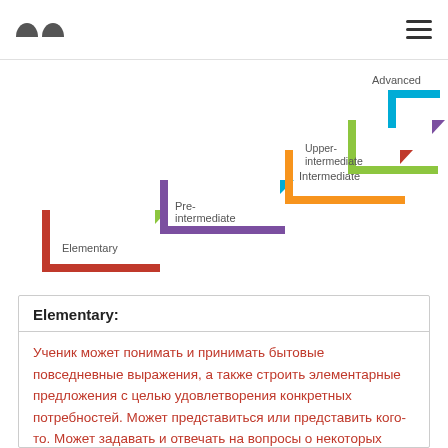[Figure (infographic): Staircase diagram showing English language levels: Elementary, Pre-intermediate, Intermediate, Upper-intermediate, Advanced. Each level is represented as a step going upward from left to right, with colored L-shaped brackets and triangular arrows. Colors: red (Elementary), purple (Pre-intermediate), orange/yellow (Intermediate), green (Upper-intermediate), blue (Advanced).]
Elementary:
Ученик может понимать и принимать бытовые повседневные выражения, а также строить элементарные предложения с целью удовлетворения конкретных потребностей. Может представиться или представить кого-то. Может задавать и отвечать на вопросы о некоторых деталях личной жизни, о людях, о вещах и тому подобное. Может взаимодействовать на простейшем уровне, если…